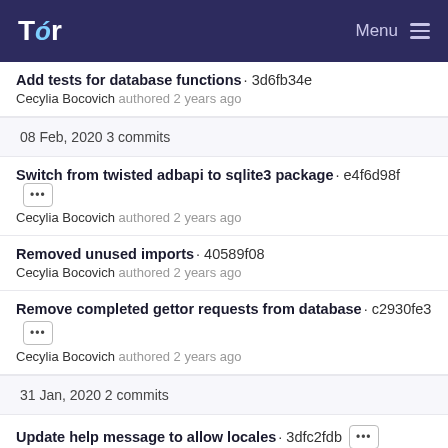Tor — Menu
Add tests for database functions · 3d6fb34e — Cecylia Bocovich authored 2 years ago
08 Feb, 2020 3 commits
Switch from twisted adbapi to sqlite3 package · e4f6d98f — Cecylia Bocovich authored 2 years ago
Removed unused imports · 40589f08 — Cecylia Bocovich authored 2 years ago
Remove completed gettor requests from database · c2930fe3 — Cecylia Bocovich authored 2 years ago
31 Jan, 2020 2 commits
Update help message to allow locales · 3dfc2fdb — Cecylia Bocovich authored 2 years ago